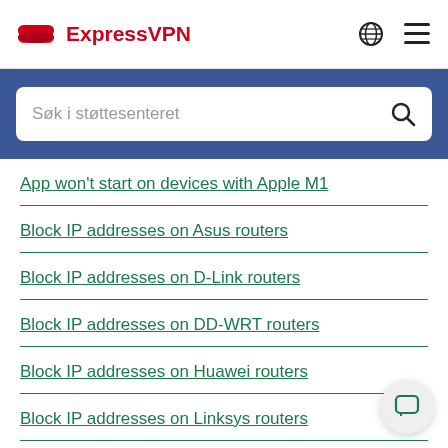ExpressVPN
Søk i støttesenteret
App won't start on devices with Apple M1
Block IP addresses on Asus routers
Block IP addresses on D-Link routers
Block IP addresses on DD-WRT routers
Block IP addresses on Huawei routers
Block IP addresses on Linksys routers